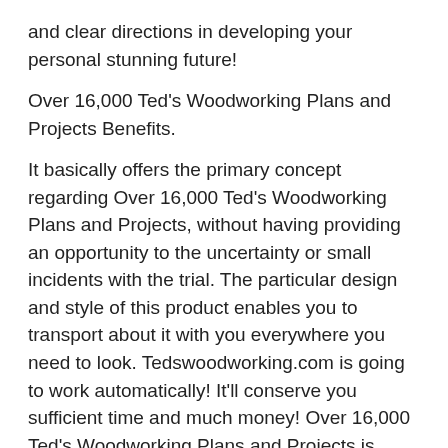and clear directions in developing your personal stunning future!
Over 16,000 Ted's Woodworking Plans and Projects Benefits.
It basically offers the primary concept regarding Over 16,000 Ted's Woodworking Plans and Projects, without having providing an opportunity to the uncertainty or small incidents with the trial. The particular design and style of this product enables you to transport about it with you everywhere you need to look. Tedswoodworking.com is going to work automatically! It'll conserve you sufficient time and much money! Over 16,000 Ted's Woodworking Plans and Projects is useful at your house or anywhere you want!
What can you receive from Over 16,000 Ted's Woodworking Plans and Projects?